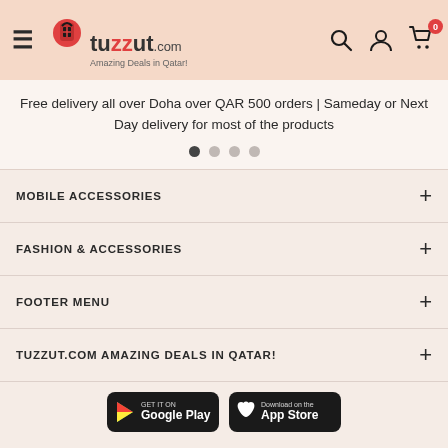[Figure (screenshot): Tuzzut.com website header with hamburger menu, logo, search icon, account icon, and cart icon with badge showing 0]
Free delivery all over Doha over QAR 500 orders | Sameday or Next Day delivery for most of the products
MOBILE ACCESSORIES
FASHION & ACCESSORIES
FOOTER MENU
TUZZUT.COM AMAZING DEALS IN QATAR!
[Figure (screenshot): Google Play and App Store download buttons]